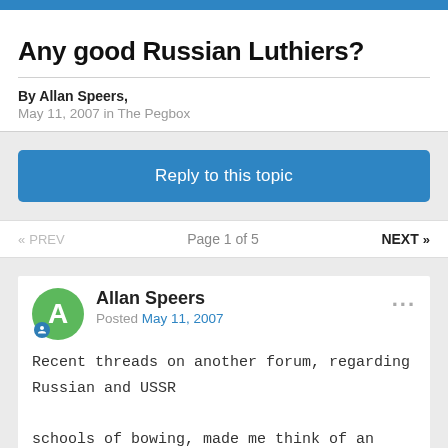Any good Russian Luthiers?
By Allan Speers,
May 11, 2007 in The Pegbox
Reply to this topic
« PREV   Page 1 of 5   NEXT »
Allan Speers
Posted May 11, 2007
Recent threads on another forum,  regarding Russian and USSR

schools of bowing, made me think of an oddity:

Wit...